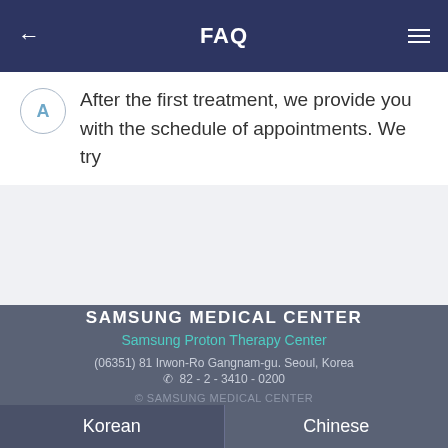FAQ
After the first treatment, we provide you with the schedule of appointments. We try
SAMSUNG MEDICAL CENTER
Samsung Proton Therapy Center
(06351) 81 Irwon-Ro Gangnam-gu. Seoul, Korea
☎  82 - 2 - 3410 - 0200
© SAMSUNG MEDICAL CENTER
Korean   Chinese